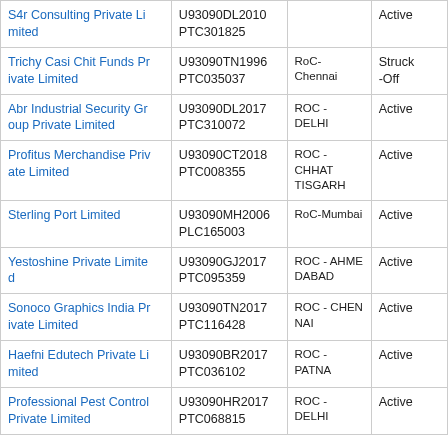| Company Name | CIN | ROC | Status |
| --- | --- | --- | --- |
| S4r Consulting Private Limited | U93090DL2010PTC301825 | ACTIVE | ACTIVE |
| Trichy Casi Chit Funds Private Limited | U93090TN1996PTC035037 | RoC-Chennai | Struck-Off |
| Abr Industrial Security Group Private Limited | U93090DL2017PTC310072 | ROC - DELHI | Active |
| Profitus Merchandise Private Limited | U93090CT2018PTC008355 | ROC - CHHATTISGARH | Active |
| Sterling Port Limited | U93090MH2006PLC165003 | RoC-Mumbai | Active |
| Yestoshine Private Limited | U93090GJ2017PTC095359 | ROC - AHMEDABAD | Active |
| Sonoco Graphics India Private Limited | U93090TN2017PTC116428 | ROC - CHENNAI | Active |
| Haefni Edutech Private Limited | U93090BR2017PTC036102 | ROC - PATNA | Active |
| Professional Pest Control Private Limited | U93090HR2017PTC068815 | ROC - DELHI | Active |